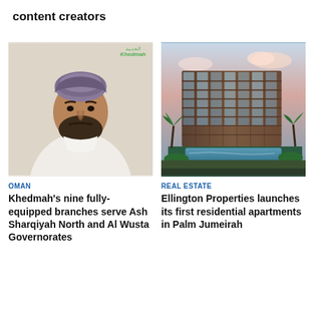content creators
[Figure (photo): Portrait of a man wearing white dishdasha and traditional Omani kuma hat, with Khedmah logo visible]
[Figure (photo): Architectural rendering of a luxury residential apartment building with pool, palm trees and blue sky at Palm Jumeirah]
OMAN
Khedmah's nine fully-equipped branches serve Ash Sharqiyah North and Al Wusta Governorates
REAL ESTATE
Ellington Properties launches its first residential apartments in Palm Jumeirah